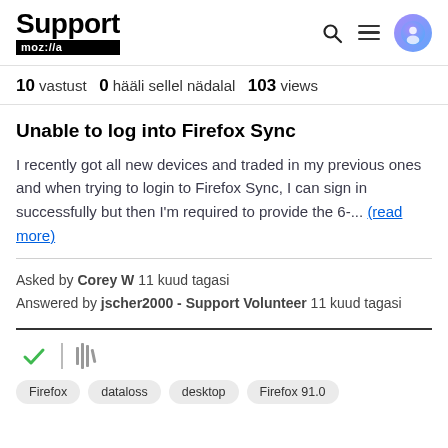Support moz://a
10 vastust  0  hääli sellel nädalal  103  views
Unable to log into Firefox Sync
I recently got all new devices and traded in my previous ones and when trying to login to Firefox Sync, I can sign in successfully but then I'm required to provide the 6-... (read more)
Asked by Corey W 11 kuud tagasi
Answered by jscher2000 - Support Volunteer 11 kuud tagasi
Firefox  dataloss  desktop  Firefox 91.0